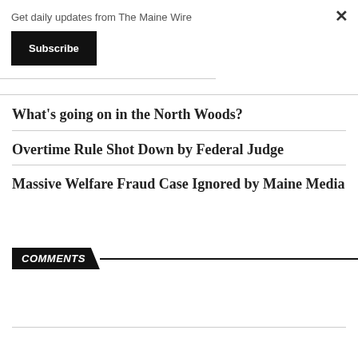Get daily updates from The Maine Wire
Subscribe
×
What's going on in the North Woods?
Overtime Rule Shot Down by Federal Judge
Massive Welfare Fraud Case Ignored by Maine Media
COMMENTS